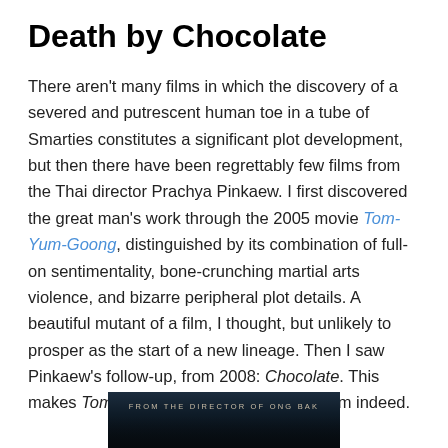Death by Chocolate
There aren't many films in which the discovery of a severed and putrescent human toe in a tube of Smarties constitutes a significant plot development, but then there have been regrettably few films from the Thai director Prachya Pinkaew. I first discovered the great man's work through the 2005 movie Tom-Yum-Goong, distinguished by its combination of full-on sentimentality, bone-crunching martial arts violence, and bizarre peripheral plot details. A beautiful mutant of a film, I thought, but unlikely to prosper as the start of a new lineage. Then I saw Pinkaew's follow-up, from 2008: Chocolate. This makes Tom-Yum-Goong look very humdrum indeed.
[Figure (photo): Bottom portion of a movie poster or image for the film, showing 'FROM THE DIRECTOR OF ONG BAK' text on a dark cinematic background]